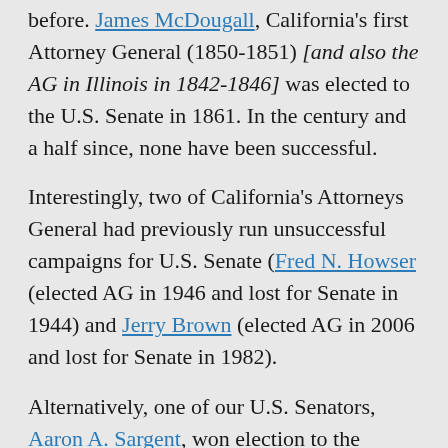before. James McDougall, California's first Attorney General (1850-1851) [and also the AG in Illinois in 1842-1846] was elected to the U.S. Senate in 1861. In the century and a half since, none have been successful.
Interestingly, two of California's Attorneys General had previously run unsuccessful campaigns for U.S. Senate (Fred N. Howser (elected AG in 1946 and lost for Senate in 1944) and Jerry Brown (elected AG in 2006 and lost for Senate in 1982).
Alternatively, one of our U.S. Senators, Aaron A. Sargent, won election to the Senate (1871) after having lost a campaign for Attorney General (1857).
In short, while not completely unprecedented, making the leap from Attorney General to Senator is not something that happens every day. Antonio Villaraigosa may be the likely candidate will and hold